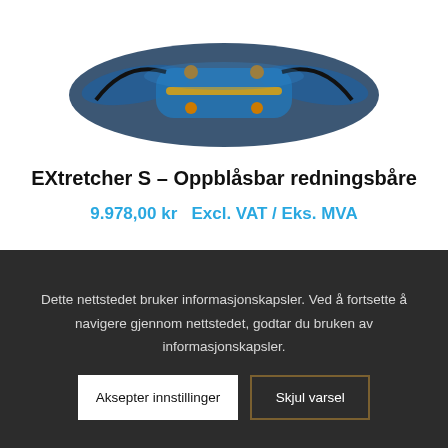[Figure (photo): Partial view of an inflatable rescue stretcher product (EXtretcher S) from above, showing blue and black inflatable tubes with orange/yellow connectors, on white background.]
EXtretcher S – Oppblåsbar redningsbåre
9.978,00 kr  Excl. VAT / Eks. MVA
Dette nettstedet bruker informasjonskapsler. Ved å fortsette å navigere gjennom nettstedet, godtar du bruken av informasjonskapsler.